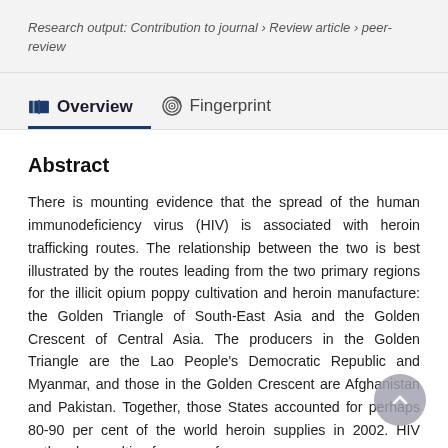Research output: Contribution to journal › Review article › peer-review
Overview   Fingerprint
Abstract
There is mounting evidence that the spread of the human immunodeficiency virus (HIV) is associated with heroin trafficking routes. The relationship between the two is best illustrated by the routes leading from the two primary regions for the illicit opium poppy cultivation and heroin manufacture: the Golden Triangle of South-East Asia and the Golden Crescent of Central Asia. The producers in the Golden Triangle are the Lao People's Democratic Republic and Myanmar, and those in the Golden Crescent are Afghanistan and Pakistan. Together, those States accounted for perhaps 80-90 per cent of the world heroin supplies in 2002. HIV outbreaks resulting from unsafe